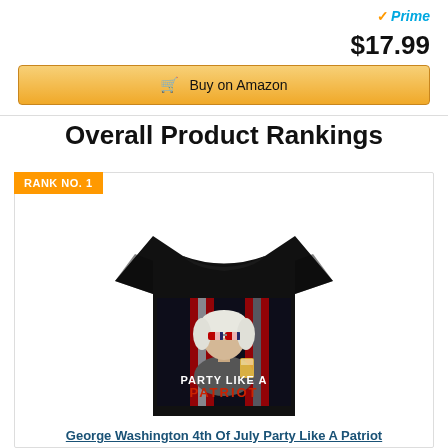Prime
$17.99
Buy on Amazon
Overall Product Rankings
RANK NO. 1
[Figure (photo): Black t-shirt with George Washington wearing American flag sunglasses, holding a beer, with text 'PARTY LIKE A PATRIOT' on a patriotic background]
George Washington 4th Of July Party Like A Patriot